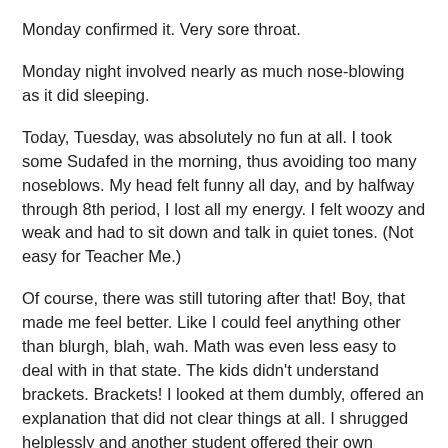Monday confirmed it. Very sore throat.
Monday night involved nearly as much nose-blowing as it did sleeping.
Today, Tuesday, was absolutely no fun at all. I took some Sudafed in the morning, thus avoiding too many noseblows. My head felt funny all day, and by halfway through 8th period, I lost all my energy. I felt woozy and weak and had to sit down and talk in quiet tones. (Not easy for Teacher Me.)
Of course, there was still tutoring after that! Boy, that made me feel better. Like I could feel anything other than blurgh, blah, wah. Math was even less easy to deal with in that state. The kids didn't understand brackets. Brackets! I looked at them dumbly, offered an explanation that did not clear things at all. I shrugged helplessly and another student offered their own interpretation, and they had to deal with that.
Naturally, I also had class tonight. I can't really miss the tech